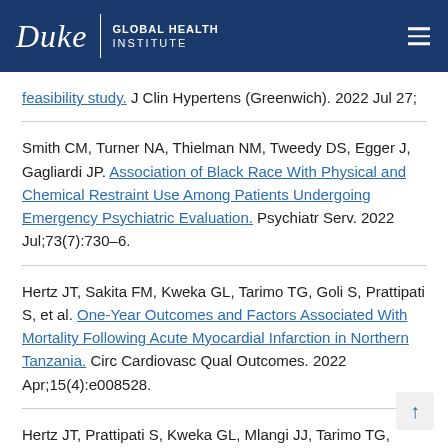Duke Global Health Institute
feasibility study. J Clin Hypertens (Greenwich). 2022 Jul 27;
Smith CM, Turner NA, Thielman NM, Tweedy DS, Egger J, Gagliardi JP. Association of Black Race With Physical and Chemical Restraint Use Among Patients Undergoing Emergency Psychiatric Evaluation. Psychiatr Serv. 2022 Jul;73(7):730–6.
Hertz JT, Sakita FM, Kweka GL, Tarimo TG, Goli S, Prattipati S, et al. One-Year Outcomes and Factors Associated With Mortality Following Acute Myocardial Infarction in Northern Tanzania. Circ Cardiovasc Qual Outcomes. 2022 Apr;15(4):e008528.
Hertz JT, Prattipati S, Kweka GL, Mlangi JJ, Tarimo TG, Mmbaga BT, et al. Prevalence and predictors of uncontrolled hypertension, diabetes, and obesity among adults with HIV in northern Tanzania. Glob...